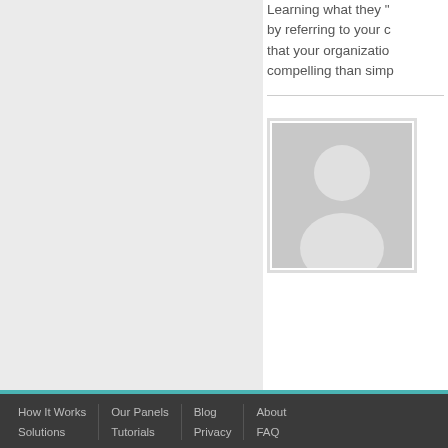Learning what they "... by referring to your c... that your organization... compelling than simp...
[Figure (photo): Generic user avatar placeholder image showing a white silhouette of a person on a gray background, within a white bordered frame]
How It Works | Our Panels | Blog | About
Solutions | Tutorials | Privacy | FAQ
Pricing | Contact Us | TOS | Buzz